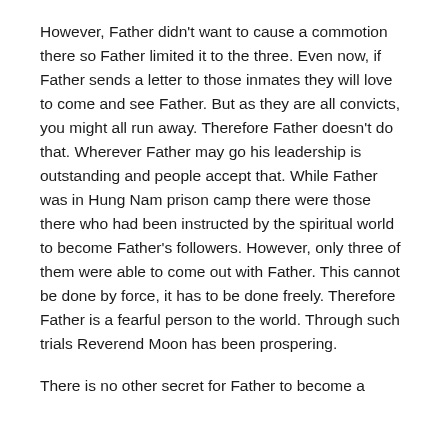However, Father didn't want to cause a commotion there so Father limited it to the three. Even now, if Father sends a letter to those inmates they will love to come and see Father. But as they are all convicts, you might all run away. Therefore Father doesn't do that. Wherever Father may go his leadership is outstanding and people accept that. While Father was in Hung Nam prison camp there were those there who had been instructed by the spiritual world to become Father's followers. However, only three of them were able to come out with Father. This cannot be done by force, it has to be done freely. Therefore Father is a fearful person to the world. Through such trials Reverend Moon has been prospering.
There is no other secret for Father to become a